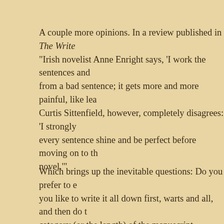A couple more opinions. In a review published in The Write "Irish novelist Anne Enright says, 'I work the sentences and from a bad sentence; it gets more and more painful, like lea Curtis Sittenfield, however, completely disagrees: 'I strongly every sentence shine and be perfect before moving on to th novel.'"
Which brings up the inevitable questions: Do you prefer to you like to write it all down first, warts and all, and then do t category (or the length) of the manuscript--short/long, fictio either approach? Do you think the preference is by choice,
And the best question of all: If the final product is good . . .
Posted by John Floyd at 00:01    14 comments
Labels: drafts, editing, Floyd, rewriting